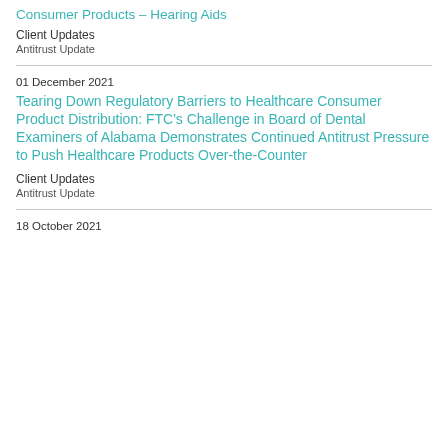Consumer Products – Hearing Aids
Client Updates
Antitrust Update
Tearing Down Regulatory Barriers to Healthcare Consumer Product Distribution: FTC's Challenge in Board of Dental Examiners of Alabama Demonstrates Continued Antitrust Pressure to Push Healthcare Products Over-the-Counter
01 December 2021
Client Updates
Antitrust Update
18 October 2021